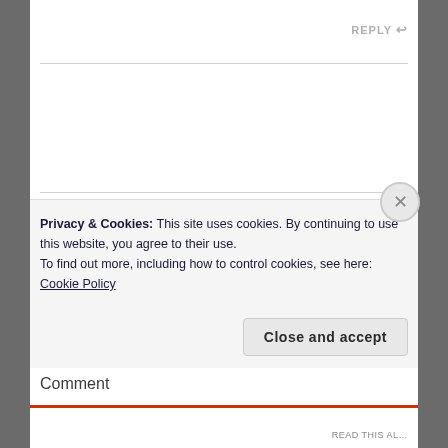REPLY ↩
Leave a Reply
Your email address will not be published. Required fields are marked *
Comment
Privacy & Cookies: This site uses cookies. By continuing to use this website, you agree to their use.
To find out more, including how to control cookies, see here: Cookie Policy
Close and accept